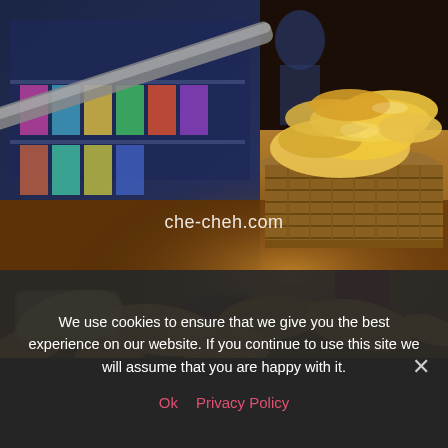[Figure (photo): Photo of potato chips/crisps in a wicker basket on a counter warmer, with more chips spread on the counter below. A shop with product shelves visible in the background. Watermark text 'che-cheh.com' overlaid on the image.]
We use cookies to ensure that we give you the best experience on our website. If you continue to use this site we will assume that you are happy with it.
Ok   Privacy Policy